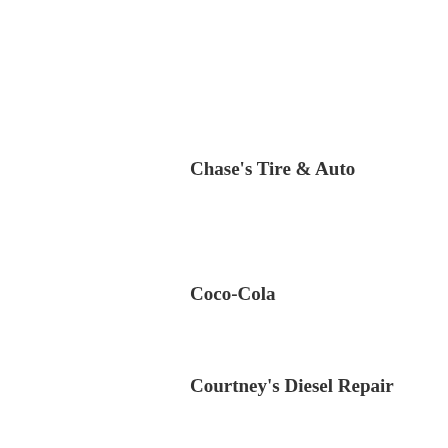Chase's Tire & Auto
Coco-Cola
Courtney's Diesel Repair